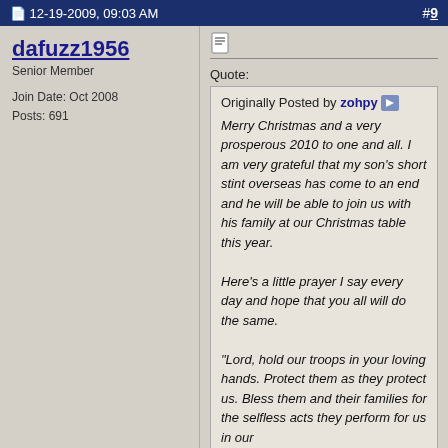12-19-2009, 09:03 AM   #9
dafuzz1956
Senior Member
Join Date: Oct 2008
Posts: 691
Quote:
Originally Posted by zohpy
Merry Christmas and a very prosperous 2010 to one and all. I am very grateful that my son's short stint overseas has come to an end and he will be able to join us with his family at our Christmas table this year.

Here's a little prayer I say every day and hope that you all will do the same.

"Lord, hold our troops in your loving hands. Protect them as they protect us. Bless them and their families for the selfless acts they perform for us in our